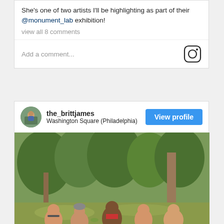She's one of two artists I'll be highlighting as part of their @monument_lab exhibition!
view all 8 comments
Add a comment...
the_brittjames
Washington Square (Philadelphia)
View profile
[Figure (photo): Group of people standing and smiling together in a park with green trees in the background, Washington Square Philadelphia]